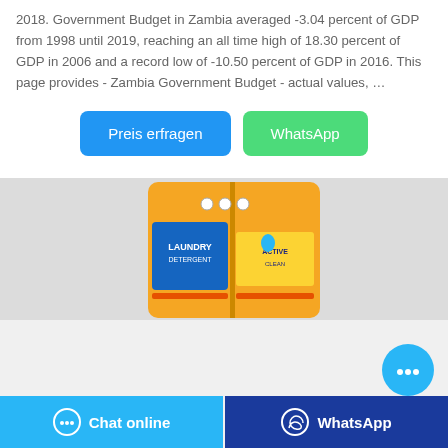2018. Government Budget in Zambia averaged -3.04 percent of GDP from 1998 until 2019, reaching an all time high of 18.30 percent of GDP in 2006 and a record low of -10.50 percent of GDP in 2016. This page provides - Zambia Government Budget - actual values, …
Preis erfragen | WhatsApp
[Figure (photo): Orange detergent/laundry product pouch with blue label, photographed on a light gray background]
Chat online | WhatsApp